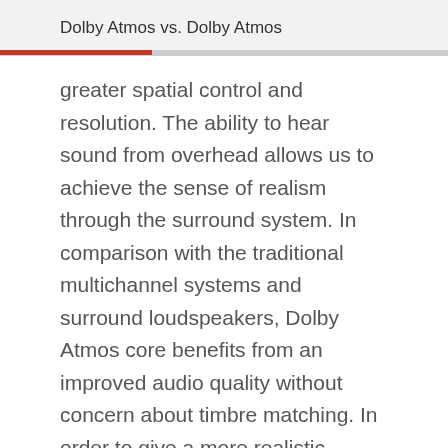Dolby Atmos vs. Dolby Atmos
greater spatial control and resolution. The ability to hear sound from overhead allows us to achieve the sense of realism through the surround system. In comparison with the traditional multichannel systems and surround loudspeakers, Dolby Atmos core benefits from an improved audio quality without concern about timbre matching. In order to give a more realistic experience to the audience, it directs the sounds that are difficult to reproduce, to a single speaker